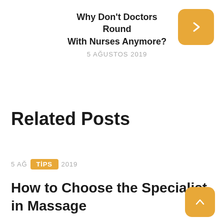Why Don't Doctors Round With Nurses Anymore?
5 AĞUSTOS 2019
Related Posts
5 AĞ   TIPS   2019
How to Choose the Specialist in Massage